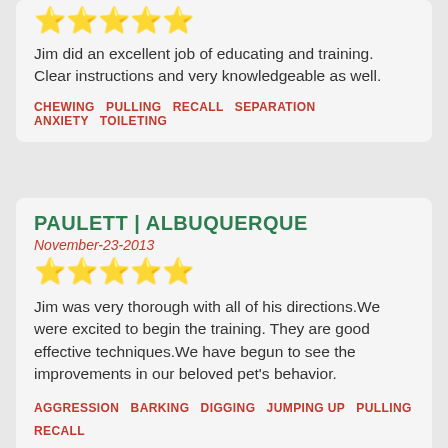[Figure (other): 5 gold star rating icons]
Jim did an excellent job of educating and training. Clear instructions and very knowledgeable as well.
CHEWING   PULLING   RECALL   SEPARATION ANXIETY   TOILETING
PAULETT | ALBUQUERQUE
November-23-2013
[Figure (other): 5 gold star rating icons]
Jim was very thorough with all of his directions.We were excited to begin the training. They are good effective techniques.We have begun to see the improvements in our beloved pet's behavior.
AGGRESSION   BARKING   DIGGING   JUMPING UP   PULLING   RECALL